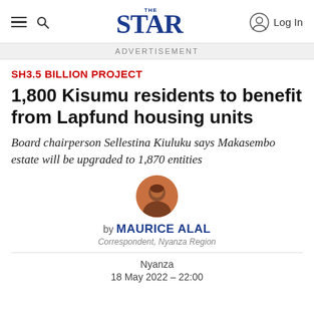THE STAR | Log In
ADVERTISEMENT
SH3.5 BILLION PROJECT
1,800 Kisumu residents to benefit from Lapfund housing units
Board chairperson Sellestina Kiuluku says Makasembo estate will be upgraded to 1,870 entities
[Figure (photo): Circular portrait photo of journalist Maurice Alal]
by MAURICE ALAL
Correspondent, Nyanza Region
Nyanza
18 May 2022 – 22:00